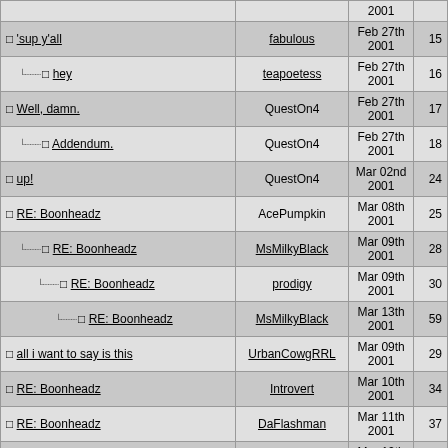| Subject | Author | Date | # |
| --- | --- | --- | --- |
| 'sup y'all | fabulous | Feb 27th 2001 | 15 |
| → hey | teapoetess | Feb 27th 2001 | 16 |
| Well, damn. | QuestOn4 | Feb 27th 2001 | 17 |
| → Addendum. | QuestOn4 | Feb 27th 2001 | 18 |
| up! | QuestOn4 | Mar 02nd 2001 | 24 |
| RE: Boonheadz | AcePumpkin | Mar 08th 2001 | 25 |
| → RE: Boonheadz | MsMilkyBlack | Mar 09th 2001 | 28 |
| →→ RE: Boonheadz | prodigy | Mar 09th 2001 | 30 |
| →→→ RE: Boonheadz | MsMilkyBlack | Mar 13th 2001 | 59 |
| all i want to say is this | UrbanCowgRRL | Mar 09th 2001 | 29 |
| RE: Boonheadz | Introvert | Mar 10th 2001 | 34 |
| RE: Boonheadz | DaFlashman | Mar 11th 2001 | 37 |
| ARCHIVE THIS | Hot_Damali | Mar 12th 2001 | 47 |
| → cosign. | QuestOn4 | Mar 18th 2001 | 73 |
| RE: Boonheadz | … | Mar 18th … | … |